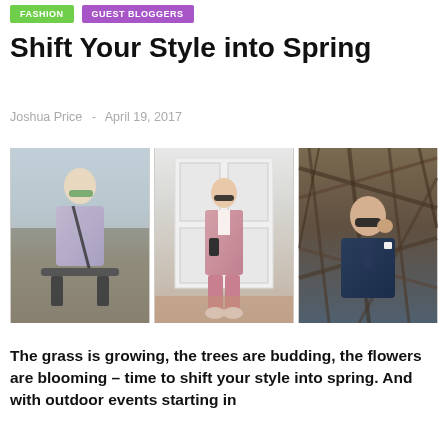FASHION | GUEST BLOGGERS
Shift Your Style into Spring
Joshua Price  -  April 19, 2017
[Figure (photo): Three photos of a man in spring suits: left photo shows man in light purple/grey suit on a bike/scooter outdoors; center photo shows man in pink suit leaning against white double doors; right photo shows man in navy suit surrounded by woven straw/branches.]
The grass is growing, the trees are budding, the flowers are blooming – time to shift your style into spring. And with outdoor events starting in